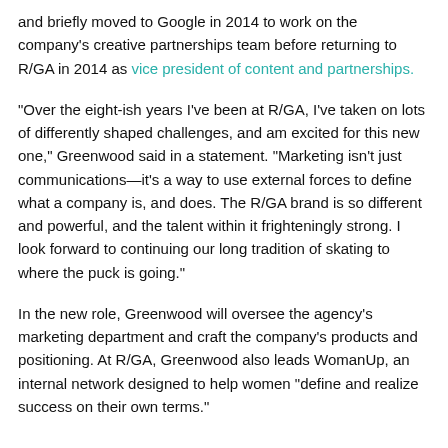and briefly moved to Google in 2014 to work on the company's creative partnerships team before returning to R/GA in 2014 as vice president of content and partnerships.
"Over the eight-ish years I've been at R/GA, I've taken on lots of differently shaped challenges, and am excited for this new one," Greenwood said in a statement. "Marketing isn't just communications—it's a way to use external forces to define what a company is, and does. The R/GA brand is so different and powerful, and the talent within it frighteningly strong. I look forward to continuing our long tradition of skating to where the puck is going."
In the new role, Greenwood will oversee the agency's marketing department and craft the company's products and positioning. At R/GA, Greenwood also leads WomanUp, an internal network designed to help women "define and realize success on their own terms."